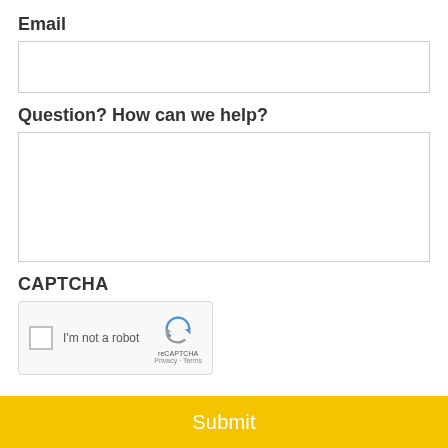Email
[Figure (other): Empty email input text field]
Question? How can we help?
[Figure (other): Empty multi-line textarea input field]
CAPTCHA
[Figure (other): reCAPTCHA widget with checkbox labeled I'm not a robot and reCAPTCHA logo with Privacy and Terms links]
Submit